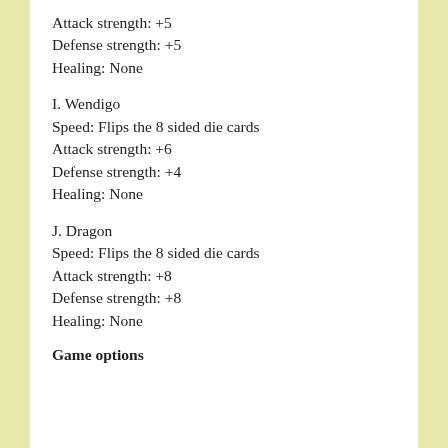Attack strength: +5
Defense strength: +5
Healing: None
I. Wendigo
Speed: Flips the 8 sided die cards
Attack strength: +6
Defense strength: +4
Healing: None
J. Dragon
Speed: Flips the 8 sided die cards
Attack strength: +8
Defense strength: +8
Healing: None
Game options